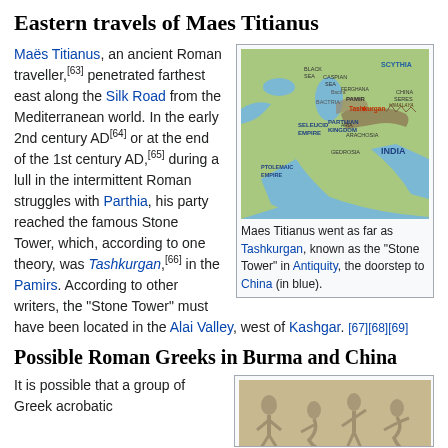Eastern travels of Maes Titianus
[Figure (map): Map showing ancient regions including Scythia, Caspian Sea, Parthian Kingdom, Seleucid Empire, Ptolemaic Empire, Pamir, Bactria, Arachosia, Gedrosia, India, China, and Himalaya. Tashkurgan is marked as the Stone Tower.]
Maes Titianus went as far as Tashkurgan, known as the "Stone Tower" in Antiquity, the doorstep to China (in blue).
Maës Titianus, an ancient Roman traveller,[63] penetrated farthest east along the Silk Road from the Mediterranean world. In the early 2nd century AD[64] or at the end of the 1st century AD,[65] during a lull in the intermittent Roman struggles with Parthia, his party reached the famous Stone Tower, which, according to one theory, was Tashkurgan,[66] in the Pamirs. According to other writers, the "Stone Tower" must have been located in the Alai Valley, west of Kashgar.[67][68][69]
Possible Roman Greeks in Burma and China
It is possible that a group of Greek acrobatic
[Figure (photo): Photo of acrobatic figurines, appearing to be bronze or stone sculptures of acrobatic performers.]